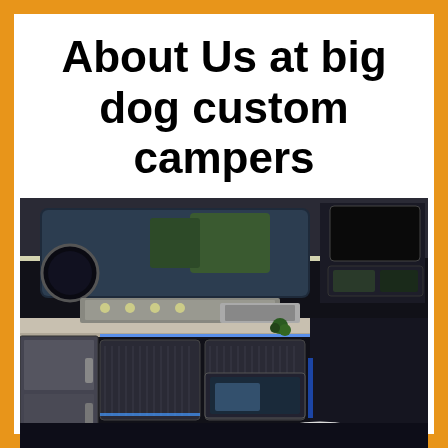About Us at big dog custom campers
[Figure (photo): Interior of a custom camper van conversion showing a kitchen area with a cooktop/stove built into a countertop, a window with reflection above, storage cabinets below in black and grey with ribbed/louvered panels, a refrigerator on the left side, control panels on the right side, blue ambient LED lighting, and wiring visible in the lower right corner.]